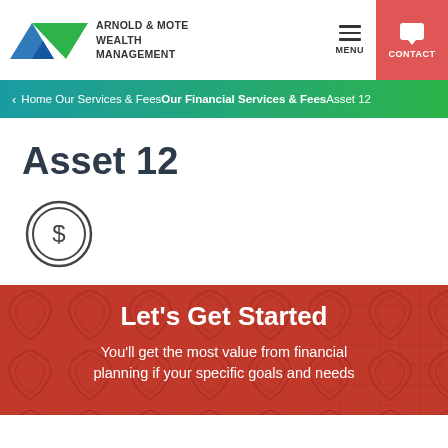Arnold & Mote Wealth Management — MENU | CONTACT
‹ Home Our Services & Fees Our Financial Services & Fees Asset 12
Asset 12
[Figure (illustration): Dollar coin icon — circle with $ symbol inside a double ring]
Let's Get Started
You'll get the most value from financial planning if your specific goals and needs